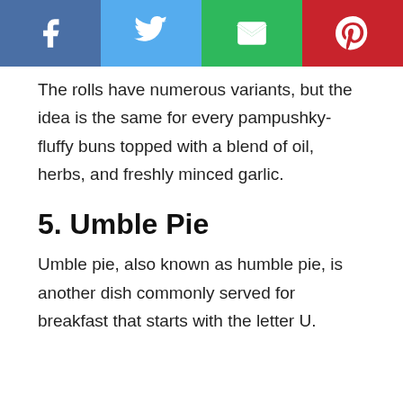[Figure (other): Social share bar with four buttons: Facebook (dark blue), Twitter (light blue), Email/envelope (green), Pinterest (red)]
The rolls have numerous variants, but the idea is the same for every pampushky- fluffy buns topped with a blend of oil, herbs, and freshly minced garlic.
5. Umble Pie
Umble pie, also known as humble pie, is another dish commonly served for breakfast that starts with the letter U.